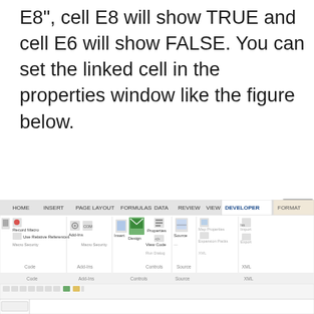E8", cell E8 will show TRUE and cell E6 will show FALSE. You can set the linked cell in the properties window like the figure below.
[Figure (screenshot): Excel Developer ribbon screenshot showing tabs: HOME, INSERT, PAGE LAYOUT, FORMULAS, DATA, REVIEW, VIEW, DEVELOPER (active, highlighted in white), FORMAT. Ribbon body shows groups: Code (with Record Macro, Use Relative References, Macro Security), Add-Ins (with Add-Ins, COM), Controls (with Insert, Design mode active/highlighted, Properties, View Code, Run Dialog), Source (with Source icon, Map Properties, Expansion Packs, Import, Export). Bottom shows quick access toolbar with undo/redo and other icons.]